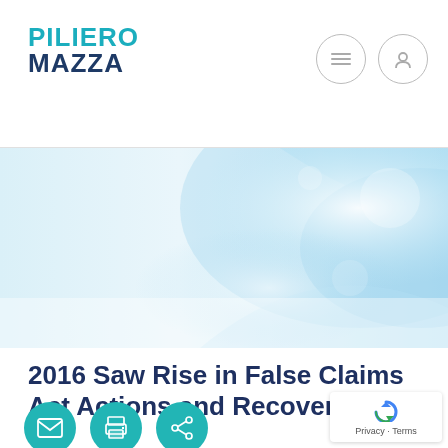PILIERO MAZZA
[Figure (illustration): Decorative light blue and white gradient hero banner with soft curved shapes and gentle bokeh-style highlights]
2016 Saw Rise in False Claims Act Actions and Recoveries
[Figure (infographic): Three teal circular social sharing icons: email/envelope, print/document, and share/network icons]